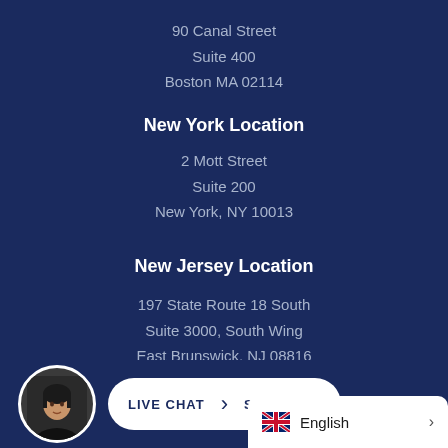90 Canal Street
Suite 400
Boston MA 02114
New York Location
2 Mott Street
Suite 200
New York, NY 10013
New Jersey Location
197 State Route 18 South
Suite 3000, South Wing
East Brunswick, NJ 08816
[Figure (photo): Circular avatar photo of a woman in dark clothing]
LIVE CHAT  >  START NOW
English >